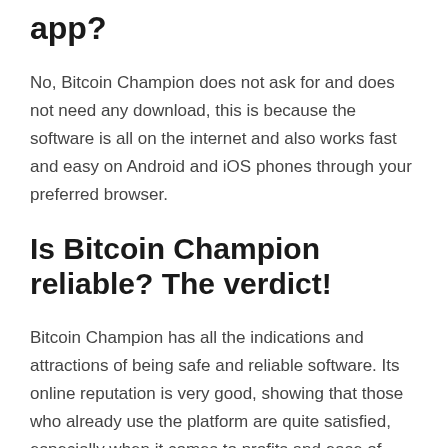app?
No, Bitcoin Champion does not ask for and does not need any download, this is because the software is all on the internet and also works fast and easy on Android and iOS phones through your preferred browser.
Is Bitcoin Champion reliable? The verdict!
Bitcoin Champion has all the indications and attractions of being safe and reliable software. Its online reputation is very good, showing that those who already use the platform are quite satisfied, especially when it comes to profits and ease of handling.